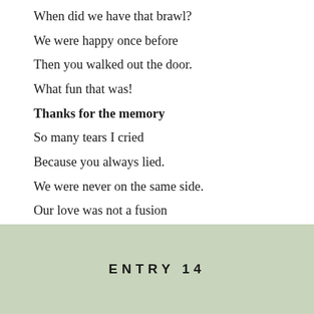When did we have that brawl?
We were happy once before
Then you walked out the door.
What fun that was!
Thanks for the memory
So many tears I cried
Because you always lied.
We were never on the same side.
Our love was not a fusion
Just confusion and illusion.
No fun for me.
ENTRY 14